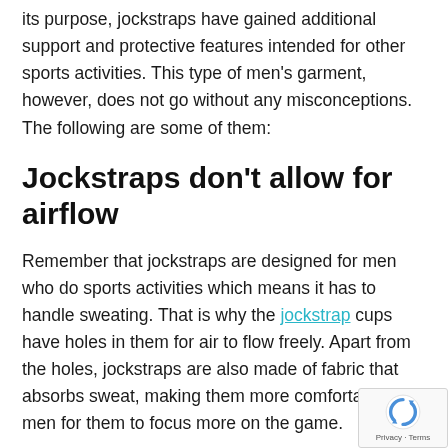its purpose, jockstraps have gained additional support and protective features intended for other sports activities. This type of men's garment, however, does not go without any misconceptions. The following are some of them:
Jockstraps don't allow for airflow
Remember that jockstraps are designed for men who do sports activities which means it has to handle sweating. That is why the jockstrap cups have holes in them for air to flow freely. Apart from the holes, jockstraps are also made of fabric that absorbs sweat, making them more comfortable for men for them to focus more on the game.